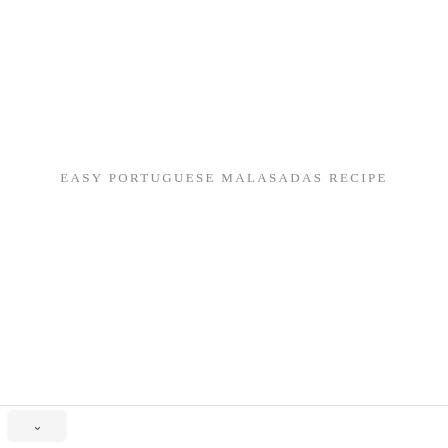EASY PORTUGUESE MALASADAS RECIPE